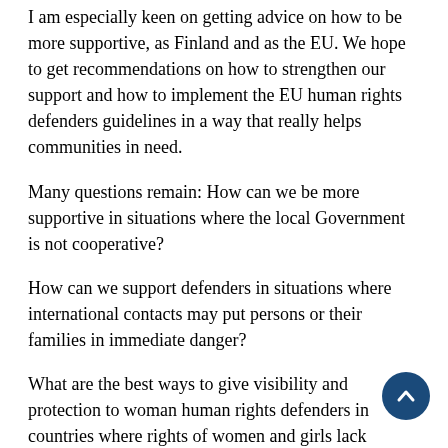I am especially keen on getting advice on how to be more supportive, as Finland and as the EU. We hope to get recommendations on how to strengthen our support and how to implement the EU human rights defenders guidelines in a way that really helps communities in need.
Many questions remain: How can we be more supportive in situations where the local Government is not cooperative?
How can we support defenders in situations where international contacts may put persons or their families in immediate danger?
What are the best ways to give visibility and protection to woman human rights defenders in countries where rights of women and girls lack behind international standards? If re-location in needed, how best to ensure that?